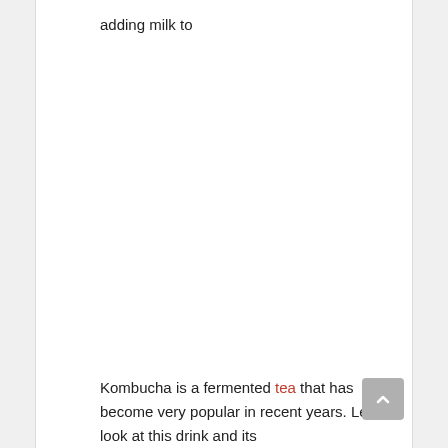adding milk to
Kombucha is a fermented tea that has become very popular in recent years. Let's look at this drink and its